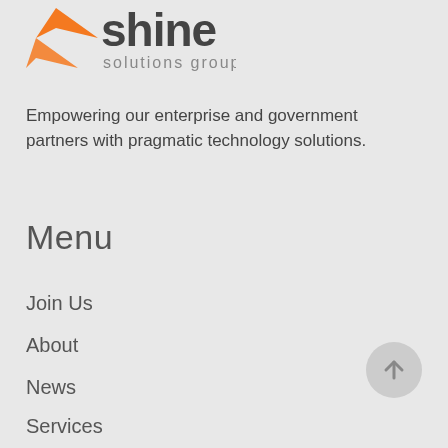[Figure (logo): Shine Solutions Group logo with orange arrow/chevron icon and dark grey 'shine solutions group' text]
Empowering our enterprise and government partners with pragmatic technology solutions.
Menu
Join Us
About
News
Services
Insights